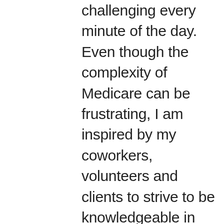challenging every minute of the day. Even though the complexity of Medicare can be frustrating, I am inspired by my coworkers, volunteers and clients to strive to be knowledgeable in my field and complete my daily tasks, while keeping up an energetic and positive attitude. At the same time, I need to make sure to fully participate in AVODAH evening programs and contribute to the growth of our AVODAH community. These programs so far have been moving, intellectually stimulating and fun! Sometimes I find it difficult to juggle both obligations. There are just not enough hours in a day to finish every task.